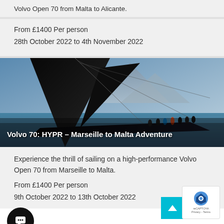Volvo Open 70 from Malta to Alicante.
From £1400 Per person
28th October 2022 to 4th November 2022
[Figure (photo): Racing yacht Volvo Open 70 sailing at speed with large black sail and crew on deck, mountains in background]
Volvo 70: HYPR – Marseille to Malta Adventure
Experience the thrill of sailing on a high-performance Volvo Open 70 from Marseille to Malta.
From £1400 Per person
9th October 2022 to 13th October 2022